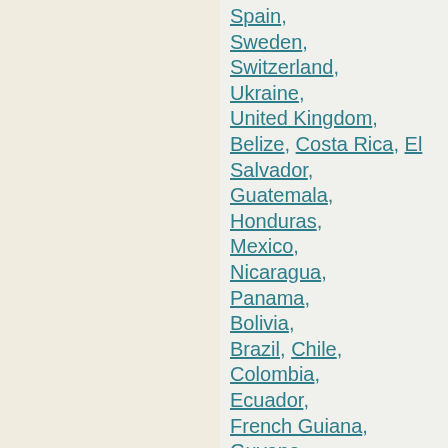Spain,
Sweden,
Switzerland,
Ukraine,
United Kingdom,
Belize, Costa Rica, El Salvador,
Guatemala,
Honduras,
Mexico,
Nicaragua,
Panama,
Bolivia,
Brazil, Chile,
Colombia,
Ecuador,
French Guiana,
Guyana,